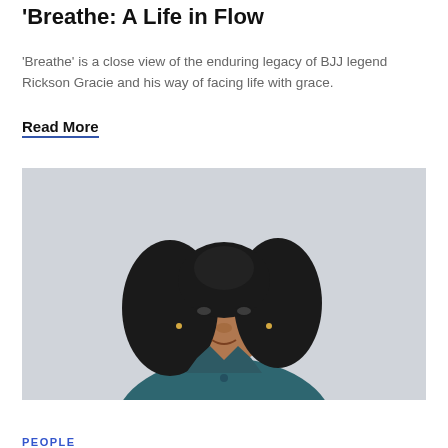'Breathe: A Life in Flow
'Breathe' is a close view of the enduring legacy of BJJ legend Rickson Gracie and his way of facing life with grace.
Read More
[Figure (photo): Portrait photo of a Black woman with voluminous dark hair, wearing a teal jacket, looking directly at camera against a light grey background.]
PEOPLE